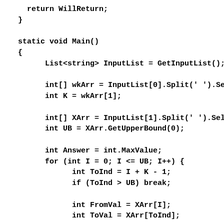return WillReturn;
    }

    static void Main()
    {
          List<string> InputList = GetInputList();

          int[] wkArr = InputList[0].Split(' ').Se
          int K = wkArr[1];

          int[] XArr = InputList[1].Split(' ').Sel
          int UB = XArr.GetUpperBound(0);

          int Answer = int.MaxValue;
          for (int I = 0; I <= UB; I++) {
                int ToInd = I + K - 1;
                if (ToInd > UB) break;

                int FromVal = XArr[I];
                int ToVal = XArr[ToInd];

                // 　0　0　0　0　0　0
                if (Math.Sign(FromVal) == Math.Sign(T
                      int AnswerKouho = Math.Max(Math.
                      Answer = Math.Min(Answer, Answer